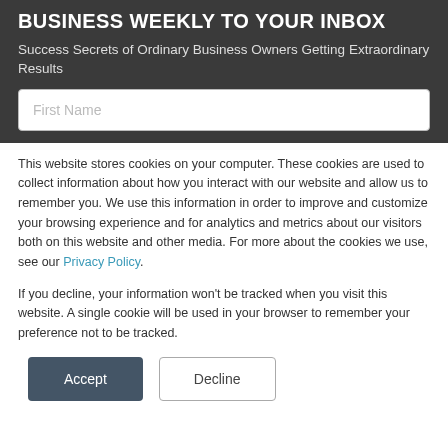BUSINESS WEEKLY TO YOUR INBOX
Success Secrets of Ordinary Business Owners Getting Extraordinary Results
First Name
This website stores cookies on your computer. These cookies are used to collect information about how you interact with our website and allow us to remember you. We use this information in order to improve and customize your browsing experience and for analytics and metrics about our visitors both on this website and other media. For more about the cookies we use, see our Privacy Policy.
If you decline, your information won't be tracked when you visit this website. A single cookie will be used in your browser to remember your preference not to be tracked.
Accept
Decline